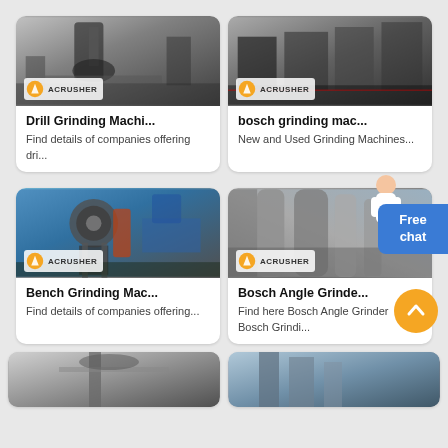[Figure (photo): Drill grinding machine in industrial facility, ACRUSHER branded image]
Drill Grinding Machi...
Find details of companies offering dri...
[Figure (photo): Bosch grinding machine equipment, ACRUSHER branded image]
bosch grinding mac...
New and Used Grinding Machines...
[Figure (photo): Bench grinding machine in blue industrial facility, ACRUSHER branded image]
Bench Grinding Mac...
Find details of companies offering...
[Figure (photo): Bosch angle grinder large industrial pipes, ACRUSHER branded image]
Bosch Angle Grinde...
Find here Bosch Angle Grinder Bosch Grindi...
[Figure (photo): Additional grinding machine partial view bottom left]
[Figure (photo): Additional grinding machine partial view bottom right]